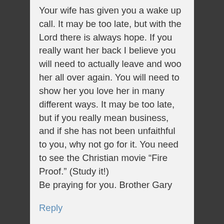Your wife has given you a wake up call. It may be too late, but with the Lord there is always hope. If you really want her back I believe you will need to actually leave and woo her all over again. You will need to show her you love her in many different ways. It may be too late, but if you really mean business, and if she has not been unfaithful to you, why not go for it. You need to see the Christian movie “Fire Proof.” (Study it!)
Be praying for you. Brother Gary
Reply